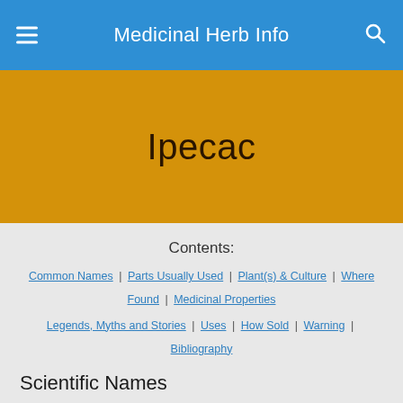Medicinal Herb Info
Ipecac
Contents:
Common Names | Parts Usually Used | Plant(s) & Culture | Where Found | Medicinal Properties
Legends, Myths and Stories | Uses | How Sold | Warning | Bibliography
Scientific Names
[Figure (photo): Close-up photo of ipecac plant showing leaves and stem]